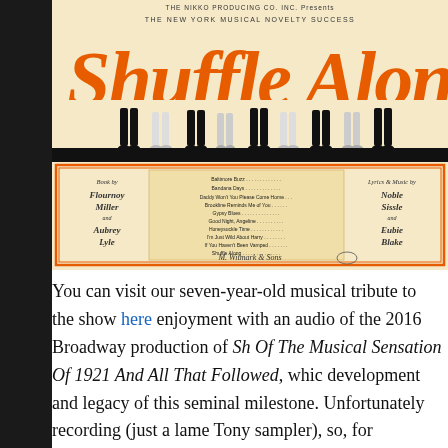[Figure (illustration): Sheet music cover for 'Shuffle Along' showing dancers' legs at top against orange lettering, with song list and credits for Book by Flournoy Miller and Aubrey Lyle, Lyrics & Music by Noble Sissle and Eubie Blake, published by M. Witmark & Sons]
You can visit our seven-year-old musical tribute to the show here enjoyment with an audio of the 2016 Broadway production of Shuffle Along, Or The Making Of The Musical Sensation Of 1921 And All That Followed, which development and legacy of this seminal milestone. Unfortunately recording (just a lame Tony sampler), so, for subscribers who co their interest, I'm offering a complete (untracked) audio of the fr Act One finale — "I'm Just Wild About Harry." Happy Birthday